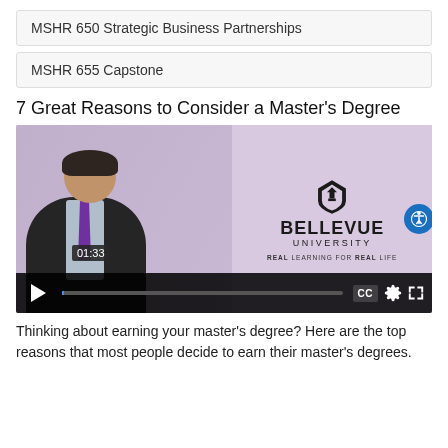MSHR 650 Strategic Business Partnerships
MSHR 655 Capstone
7 Great Reasons to Consider a Master's Degree
[Figure (screenshot): Video thumbnail showing a man in a black suit with purple tie smiling, beside the Bellevue University logo and tagline 'REAL LEARNING FOR REAL LIFE'. Video controls bar shows timestamp 01:33, play button, progress bar, CC button, settings gear, and fullscreen icon.]
Thinking about earning your master's degree? Here are the top reasons that most people decide to earn their master's degrees.